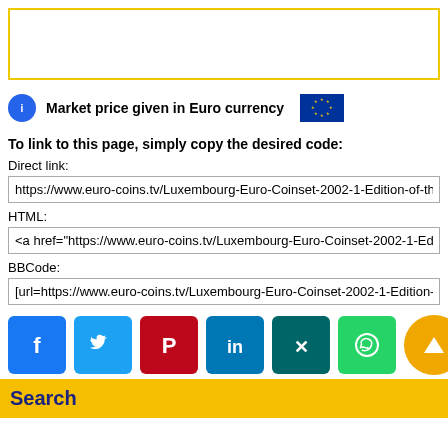[Figure (other): Yellow-bordered empty box]
Market price given in Euro currency
To link to this page, simply copy the desired code:
Direct link:
https://www.euro-coins.tv/Luxembourg-Euro-Coinset-2002-1-Edition-of-th
HTML:
<a href="https://www.euro-coins.tv/Luxembourg-Euro-Coinset-2002-1-Ed
BBCode:
[url=https://www.euro-coins.tv/Luxembourg-Euro-Coinset-2002-1-Edition-
[Figure (other): Social media sharing buttons: Facebook, Twitter, Pinterest, LinkedIn, Xing, WhatsApp, and scroll-to-top button]
Search